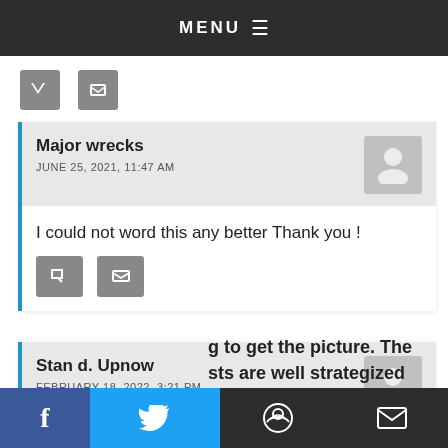MENU
who like mass shootings. Either way, they win. The only root cause they are concerned about is votes.
[Figure (other): Two small grey share/action icon buttons]
Major wrecks
JUNE 25, 2021, 11:47 AM
I could not word this any better Thank you !
[Figure (other): Two small grey reply/action buttons in comment]
Stan d. Upnow
FEBRUARY 18, 2022, 3:21 PM
...g to get the picture. The ...sts are well strategized
f  twitter  reddit  email share buttons